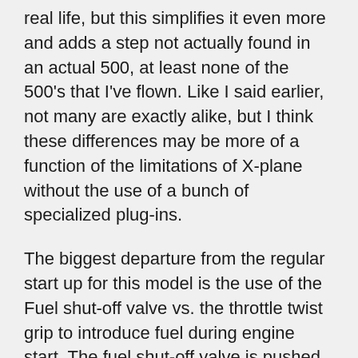real life, but this simplifies it even more and adds a step not actually found in an actual 500, at least none of the 500's that I've flown. Like I said earlier, not many are exactly alike, but I think these differences may be more of a function of the limitations of X-plane without the use of a bunch of specialized plug-ins.
The biggest departure from the regular start up for this model is the use of the Fuel shut-off valve vs. the throttle twist grip to introduce fuel during engine start. The fuel shut-off valve is pushed in during the pre-engine start checklist, and not part of the actual engine start procedure.
The other departure is the governor switch on the collective. The governor on the helicopters I flew kicked in on their own. After the engine is started, generator